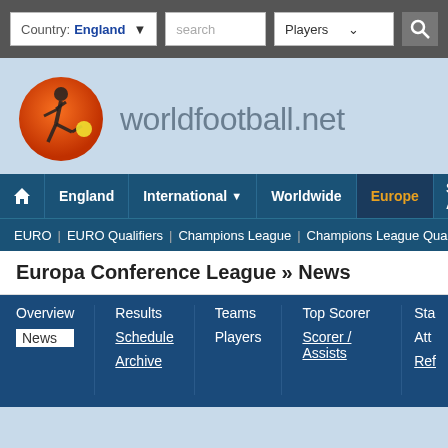Country: England | search | Players
[Figure (logo): worldfootball.net logo with orange soccer ball icon]
Home | England | International | Worldwide | Europe | South America
EURO | EURO Qualifiers | Champions League | Champions League Qual. | Eu...
Europa Conference League » News
Overview | Results | Teams | Top Scorer | Sta...
News | Schedule | Players | Scorer / Assists | Att...
 | Archive | | | Ref...